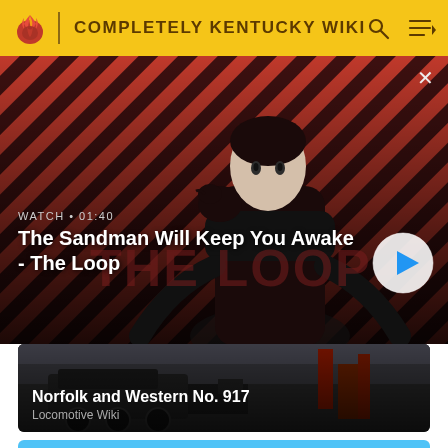COMPLETELY KENTUCKY WIKI
[Figure (screenshot): Video banner showing a pale man in dark clothing with a crow on his shoulder against a red diagonal stripe background. Shows title text 'The Sandman Will Keep You Awake - The Loop' with WATCH • 01:40 label and a play button.]
WATCH • 01:40
The Sandman Will Keep You Awake - The Loop
[Figure (photo): Dark image of a locomotive (Norfolk and Western No. 917) with industrial structures in the background.]
Norfolk and Western No. 917
Locomotive Wiki